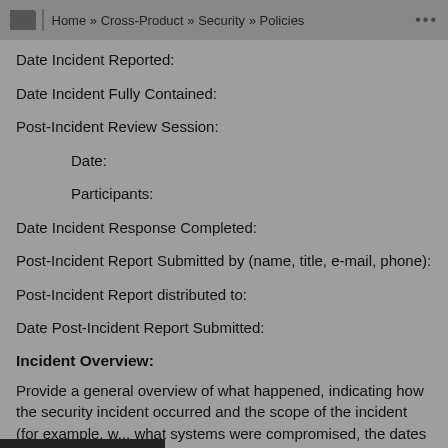Home » Cross-Product » Security » Policies
Date Incident Reported:
Date Incident Fully Contained:
Post-Incident Review Session:
Date:
Participants:
Date Incident Response Completed:
Post-Incident Report Submitted by (name, title, e-mail, phone):
Post-Incident Report distributed to:
Date Post-Incident Report Submitted:
Incident Overview:
Provide a general overview of what happened, indicating how the security incident occurred and the scope of the incident (for example, w... what systems were compromised, the dates of m... etc.). Detailed information, such as a timeline, may